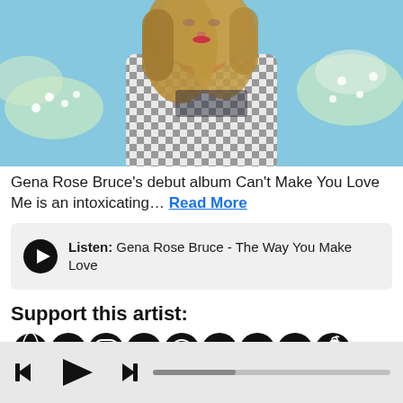[Figure (photo): Young woman with long blonde hair wearing a black and white checkered flannel shirt, red top underneath, posed against a light blue sky with white flowering tree branches. Music artist promotional photo for Gena Rose Bruce.]
Gena Rose Bruce’s debut album Can’t Make You Love Me is an intoxicating… Read More
Listen: Gena Rose Bruce - The Way You Make Love
Support this artist:
[Figure (infographic): Social media icons row: globe/website, Facebook, Instagram, Twitter, Spotify, Bandcamp, SoundCloud, YouTube, Apple Music]
[Figure (infographic): Music player controls bar: skip back, play, skip forward buttons, and a progress bar]